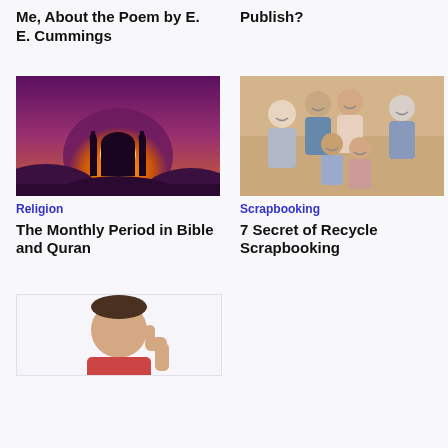Me, About the Poem by E. E. Cummings
Publish?
[Figure (photo): Illustration of a sunset over a mosque silhouette with purple and orange sky]
[Figure (photo): Multi-generational family smiling together indoors]
Religion
Scrapbooking
The Monthly Period in Bible and Quran
7 Secret of Recycle Scrapbooking
[Figure (photo): Partial view of a person giving thumbs up, visible from bottom of page]